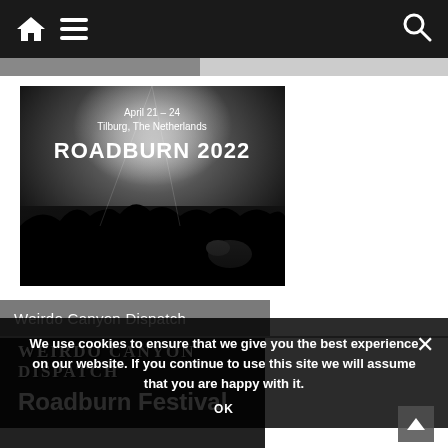Navigation bar with home, menu, and search icons
[Figure (photo): Black and white concert photo for Roadburn 2022, April 21-24, Tilburg, The Netherlands. Crowd and performers visible from behind stage perspective.]
Weirdo Canyon Dispatch
We use cookies to ensure that we give you the best experience on our website. If you continue to use this site we will assume that you are happy with it.
OK
[Figure (logo): Weirdo Canyon Dispatch logo in large serif text]
Roadburn Festival